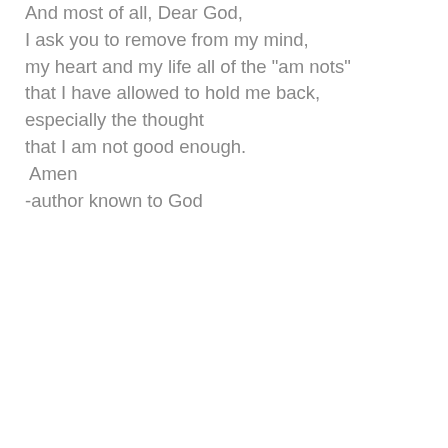And most of all, Dear God,
I ask you to remove from my mind,
my heart and my life all of the "am nots"
that I have allowed to hold me back,
especially the thought
that I am not good enough.
 Amen
-author known to God